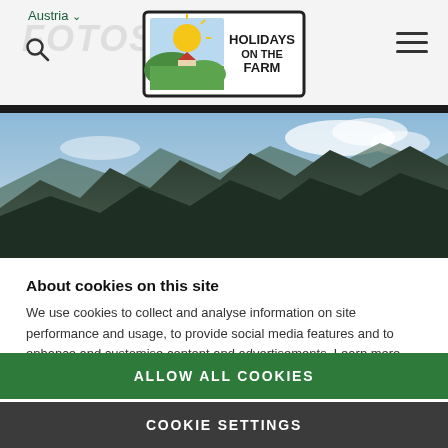Austria ▾
[Figure (logo): Holidays on the Farm logo — illustrated farm scene with sun, hills, and text 'HOLIDAYS ON THE FARM' in a rectangular border]
[Figure (photo): Panoramic mountain landscape photo showing dark rocky mountain peaks against a partly cloudy sky]
About cookies on this site
We use cookies to collect and analyse information on site performance and usage, to provide social media features and to enhance and customise content and advertisements. Learn more
ALLOW ALL COOKIES
COOKIE SETTINGS